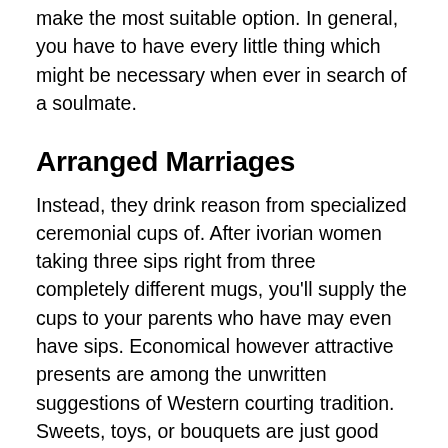make the most suitable option. In general, you have to have every little thing which might be necessary when ever in search of a soulmate.
Arranged Marriages
Instead, they drink reason from specialized ceremonial cups of. After ivorian women taking three sips right from three completely different mugs, you'll supply the cups to your parents who have may even have sips. Economical however attractive presents are among the unwritten suggestions of Western courting tradition. Sweets, toys, or bouquets are just good quality concepts. Is another necessary thing you need to remember. And so be attentive and have heed to her, see why is her content and why is her sad, and she would